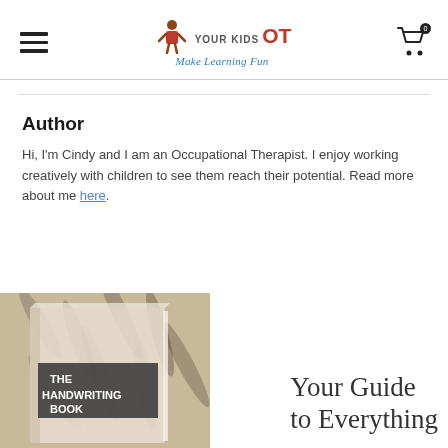YOUR KIDS OT — Make Learning Fun
Author
Hi, I'm Cindy and I am an Occupational Therapist. I enjoy working creatively with children to see them reach their potential. Read more about me here.
[Figure (photo): Book cover showing 'THE HANDWRITING BOOK' with pencils in the background]
Your Guide to Everything